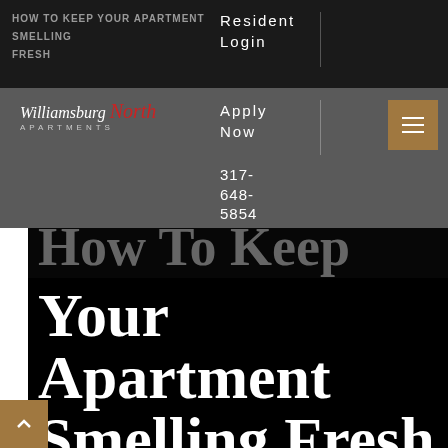HOW TO KEEP YOUR APARTMENT SMELLING FRESH
Resident Login
Apply Now
[Figure (logo): Williamsburg North Apartments logo with cursive red 'North' script]
317-648-5854
How To Keep Your Apartment Smelling Fresh